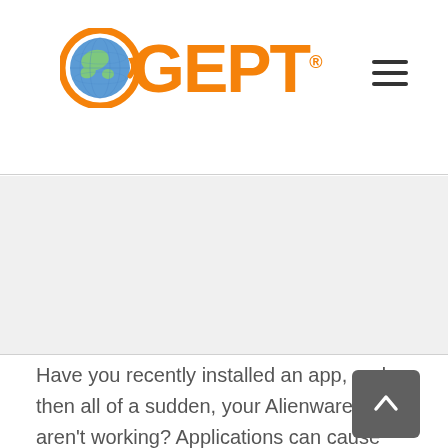[Figure (logo): GEPT logo with globe icon and orange text]
[Figure (other): Gray banner/hero area below header]
Have you recently installed an app, and then all of a sudden, your Alienware lights aren't working? Applications can cause some pretty